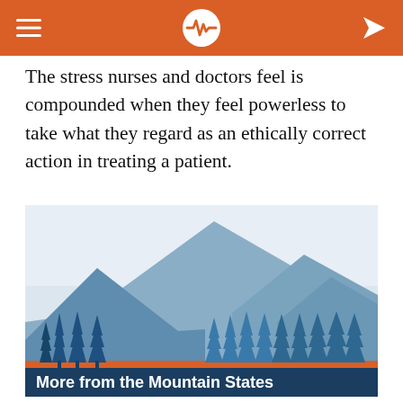The stress nurses and doctors feel is compounded when they feel powerless to take what they regard as an ethically correct action in treating a patient.
[Figure (illustration): Illustration of mountain landscape with pine trees in blue tones and an orange horizontal stripe near the bottom. Text overlay reads 'More from the Mountain States' in bold white.]